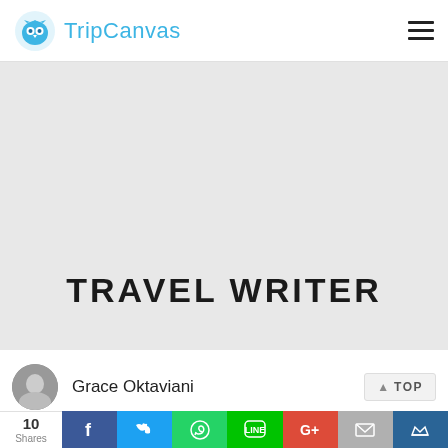TripCanvas
[Figure (illustration): TripCanvas logo - blue owl/bird illustration]
TRAVEL WRITER
Grace Oktaviani
TOP
10 Shares